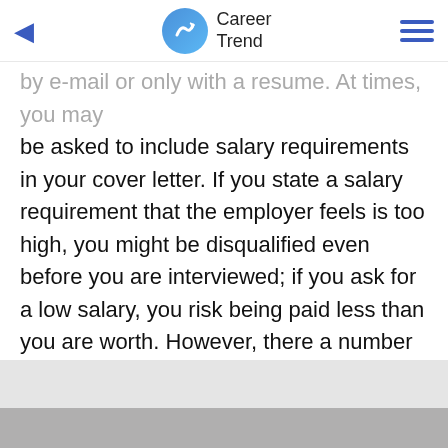Career Trend
by e-mail or only with a resume. At times, you may be asked to include salary requirements in your cover letter. If you state a salary requirement that the employer feels is too high, you might be disqualified even before you are interviewed; if you ask for a low salary, you risk being paid less than you are worth. However, there a number of ways to discuss salary requirements that can help mitigate the risks.